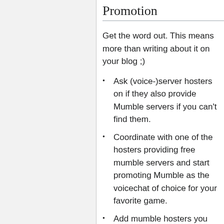Promotion
Get the word out. This means more than writing about it on your blog ;)
Ask (voice-)server hosters on if they also provide Mumble servers if you can't find them.
Coordinate with one of the hosters providing free mumble servers and start promoting Mumble as the voicechat of choice for your favorite game.
Add mumble hosters you found to the Hosters page / update information.
Create How-Tos, Screencasts, Tutorials or Benchmarks on typical issues